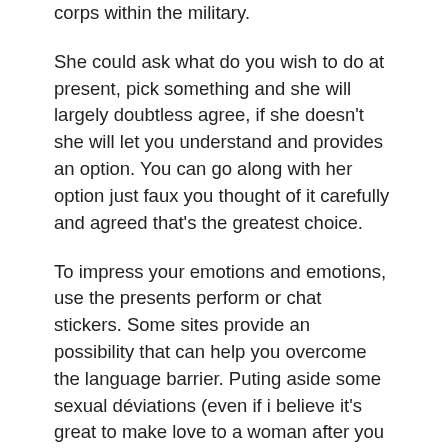corps within the military.
She could ask what do you wish to do at present, pick something and she will largely doubtless agree, if she doesn't she will let you understand and provides an option. You can go along with her option just faux you thought of it carefully and agreed that's the greatest choice.
To impress your emotions and emotions, use the presents perform or chat stickers. Some sites provide an possibility that can help you overcome the language barrier. Puting aside some sexual déviations (even if i believe it's great to make love to a woman after you tied her to the bed), i think this character is an inspiration. You mix useful notion with refreshing frank honesty all around—about the cultures you discuss and about the guys you are writing for. It feels such as you size up everyone's strengths and weaknesses realistically, and to me this is extra respectful than whitewashing any of us. I was bon in Quang Ngai province, it belong to the middle of Vietnam country. This means I'm not